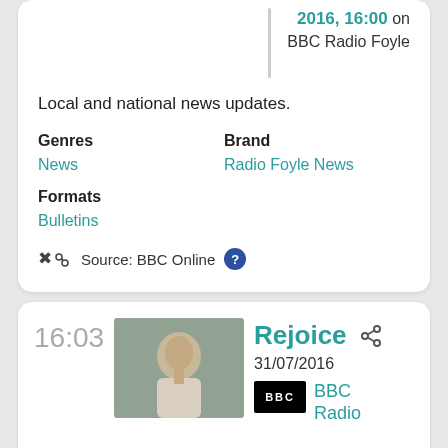2016, 16:00 on BBC Radio Foyle
Local and national news updates.
Genres
News
Brand
Radio Foyle News
Formats
Bulletins
Source: BBC Online
16:03
[Figure (photo): A man wearing headphones at a radio microphone, speaking into it.]
Rejoice
31/07/2016
[Figure (logo): BBC logo — white BBC text on black background]
BBC Radio